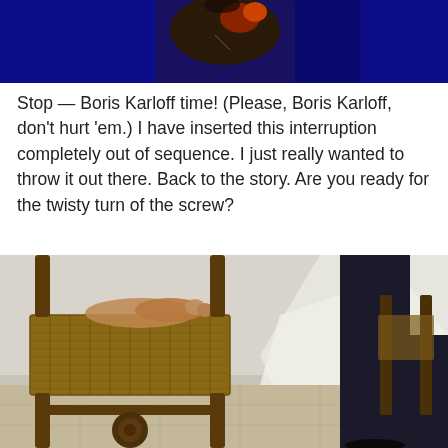[Figure (photo): Photo of a person in dark clothing against a deep blue background, appearing to hold something, shot from the torso up.]
Stop — Boris Karloff time! (Please, Boris Karloff, don't hurt 'em.) I have inserted this interruption completely out of sequence. I just really wanted to throw it out there. Back to the story. Are you ready for the twisty turn of the screw?
[Figure (photo): Photo of a rustic wooden chair with woven seat in the foreground, a person in dark trousers standing to the right, in an interior setting with a white wall and tiled floor.]